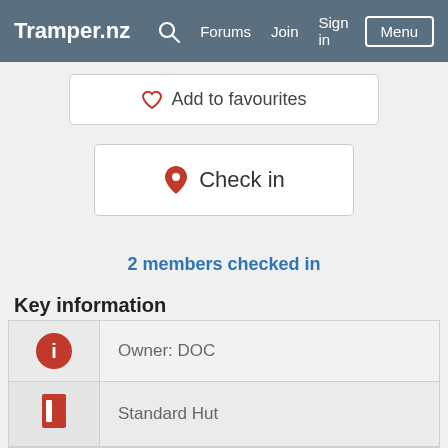Tramper.nz  Search  Forums  Join  Sign in  Menu
♡ Add to favourites
📍 Check in
2 members checked in
Key information
| Icon | Detail |
| --- | --- |
| ℹ | Owner: DOC |
| 📕 | Standard Hut |
| 🛏 | Sleeps 6 |
|  | Toilet, Enclosed wood/coal burner |